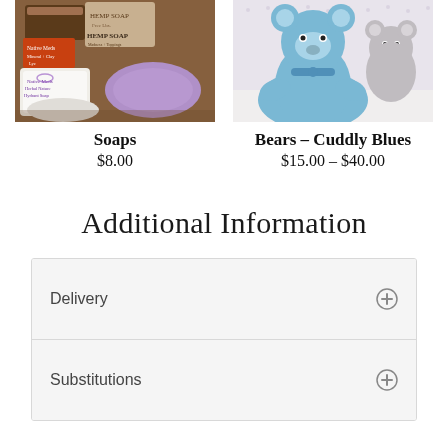[Figure (photo): Photo of various handmade soaps including Hemp Soap bars and Native Meds herbal/natural hydrant soap with a purple oval soap on a wooden surface]
Soaps
$8.00
[Figure (photo): Photo of blue and grey cuddly teddy bears grouped together on a light background]
Bears – Cuddly Blues
$15.00 – $40.00
Additional Information
Delivery
Substitutions